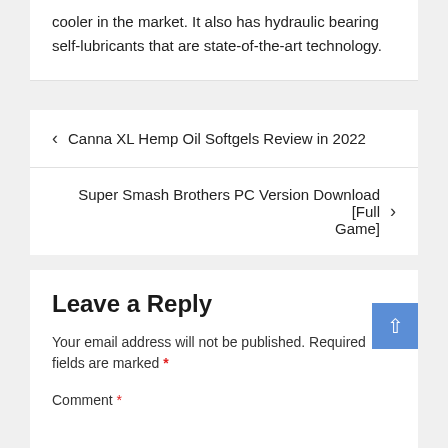cooler in the market. It also has hydraulic bearing self-lubricants that are state-of-the-art technology.
< Canna XL Hemp Oil Softgels Review in 2022
Super Smash Brothers PC Version Download [Full Game] >
Leave a Reply
Your email address will not be published. Required fields are marked *
Comment *